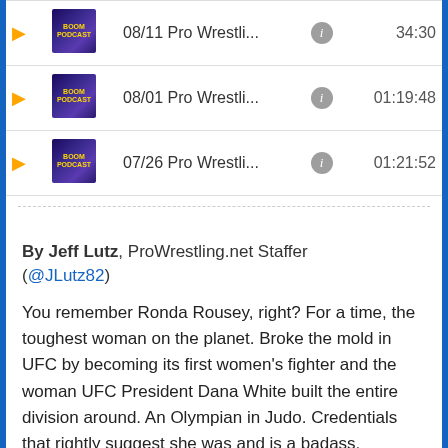[Figure (screenshot): Podcast list showing three episodes with play buttons, thumbnails, titles, info icons, and durations: 08/11 Pro Wrestli... 34:30, 08/01 Pro Wrestli... 01:19:48, 07/26 Pro Wrestli... 01:21:52]
By Jeff Lutz, ProWrestling.net Staffer (@JLutz82)
You remember Ronda Rousey, right? For a time, the toughest woman on the planet. Broke the mold in UFC by becoming its first women's fighter and the woman UFC President Dana White built the entire division around. An Olympian in Judo. Credentials that rightly suggest she was and is a badass.